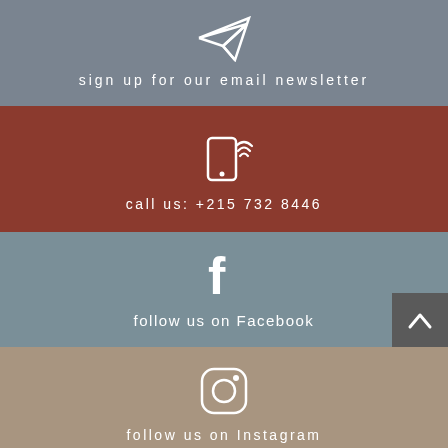[Figure (infographic): Paper airplane icon with text 'sign up for our email newsletter' on grey background]
sign up for our email newsletter
[Figure (infographic): Mobile phone with wifi icon and text 'call us: +215 732 8446' on dark red background]
call us: +215 732 8446
[Figure (infographic): Facebook icon with text 'follow us on Facebook' on grey-blue background]
follow us on Facebook
[Figure (infographic): Instagram icon with text 'follow us on Instagram' on tan/brown background]
follow us on Instagram